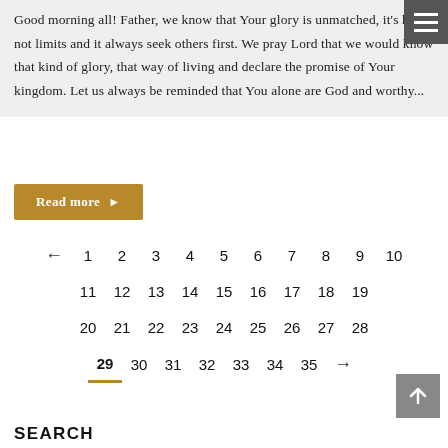Good morning all! Father, we know that Your glory is unmatched, it's has not limits and it always seek others first. We pray Lord that we would know that kind of glory, that way of living and declare the promise of Your kingdom. Let us always be reminded that You alone are God and worthy...
Read more ▶
← 1 2 3 4 5 6 7 8 9 10
11 12 13 14 15 16 17 18 19
20 21 22 23 24 25 26 27 28
29 30 31 32 33 34 35 →
SEARCH